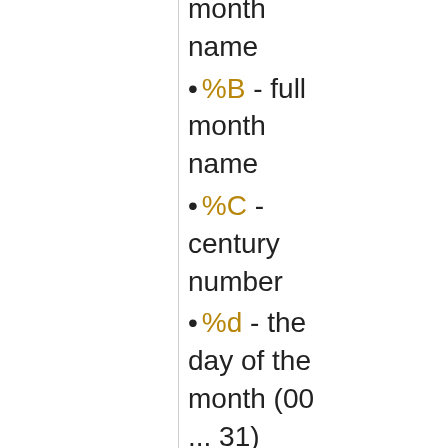month name
%B - full month name
%C - century number
%d - the day of the month (00 ... 31)
%e - the day of the month (0 ... 31)
%H - hour (00 ... 23)
%I - hour